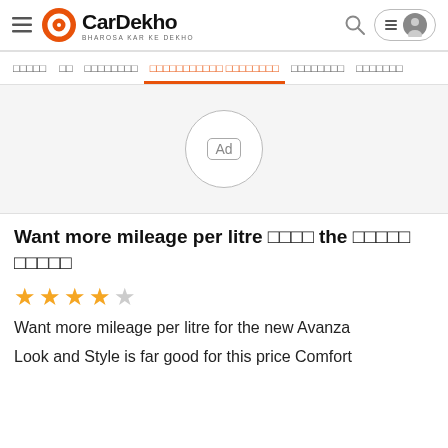CarDekho - BHAROSA KAR KE DEKHO
Navigation menu with items including active item highlighted in orange
[Figure (other): Advertisement placeholder area with 'Ad' label in a circle]
Want more mileage per litre □□□□ the □□□□□ □□□□□
★★★★☆ (3.5 stars)
Want more mileage per litre for the new Avanza
Look and Style is far good for this price Comfort